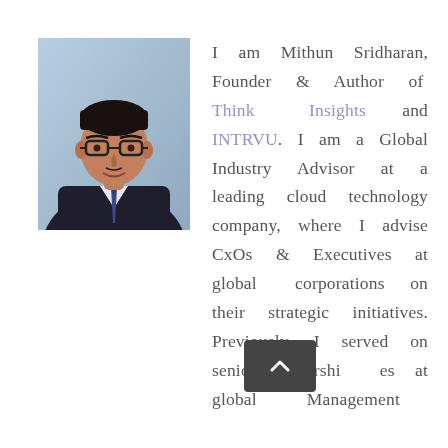[Figure (photo): Professional headshot of Mithun Sridharan, a man wearing glasses and a dark suit with a tie, photographed against a blurred light background.]
I am Mithun Sridharan, Founder & Author of Think Insights and INTRVU. I am a Global Industry Advisor at a leading cloud technology company, where I advise CxOs & Executives at global corporations on their strategic initiatives. Previously, I served on senior leadership roles at global Management